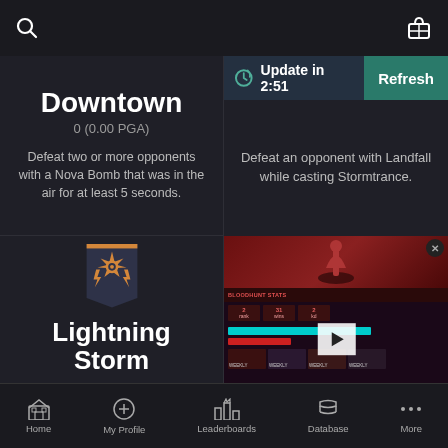[Figure (screenshot): App top bar with search icon and gift icon]
Downtown
0 (0.00 PGA)
Defeat two or more opponents with a Nova Bomb that was in the air for at least 5 seconds.
[Figure (screenshot): Update in 2:51 timer and Refresh button overlay]
Defeat an opponent with Landfall while casting Stormtrance.
[Figure (illustration): Lightning Storm banner emblem - orange shield/pennant with gear/star symbol]
Lightning Storm
[Figure (screenshot): Bloodhunt stats website screenshot with play button overlay and weekly thumbnails]
Home   My Profile   Leaderboards   Database   More